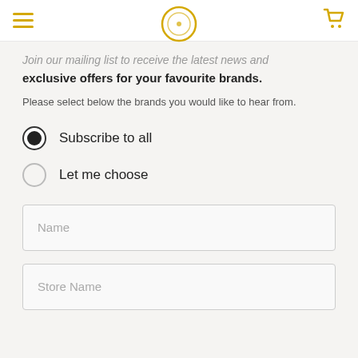Navigation header with hamburger menu, logo circle, and cart icon
Join our mailing list to receive the latest news and exclusive offers for your favourite brands.
Please select below the brands you would like to hear from.
Subscribe to all (selected)
Let me choose
Name
Store Name